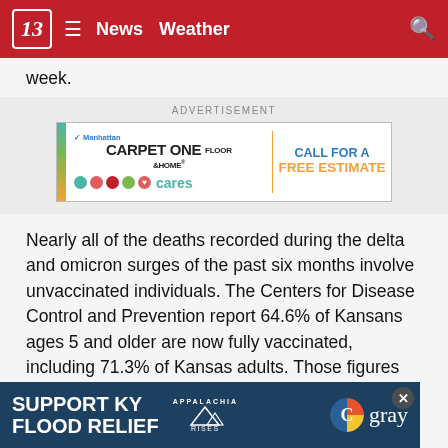13 News Weather
week.
[Figure (screenshot): Advertisement for Manhattan Carpet One Floor & Home — CALL FOR A FREE ESTIMATE]
Nearly all of the deaths recorded during the delta and omicron surges of the past six months involve unvaccinated individuals. The Centers for Disease Control and Prevention report 64.6% of Kansans ages 5 and older are now fully vaccinated, including 71.3% of Kansas adults. Those figures trail nationwide numbers by about 4 percentage points.
Hawkins … whirlwi… t
[Figure (screenshot): Support KY Flood Relief — Appalachia Rises — gray television banner ad]